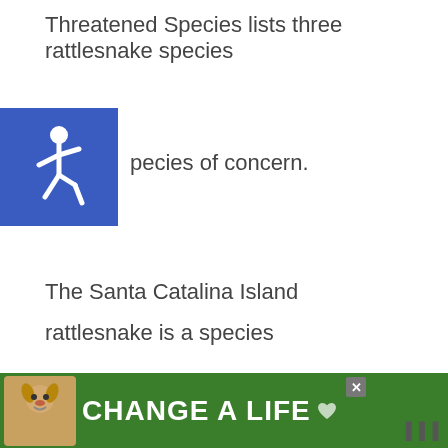Threatened Species lists three rattlesnake species
[Figure (illustration): Blue square accessibility icon with wheelchair symbol]
pecies of concern.
The Santa Catalina Island rattlesnake is a species of concern because it is only found on Santa Catalina Island, and humans and feral cats tem over-hunt them. The long-tailed rattlesnake is listed as rare, and its population is decreasing due
[Figure (illustration): Blue circular heart/like button and share button UI widgets]
[Figure (illustration): Advertisement banner: green background with dog image and text CHANGE A LIFE]